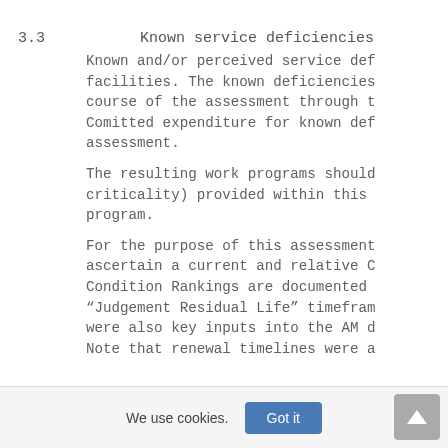3.3    Known service deficiencies
Known and/or perceived service def facilities. The known deficiencies course of the assessment through t Comitted expenditure for known def assessment.
The resulting work programs should criticality) provided within this program.
For the purpose of this assessment ascertain a current and relative C Condition Rankings are documented “Judgement Residual Life” timefram were also key inputs into the AM d Note that renewal timelines were a
We use cookies.  Got it